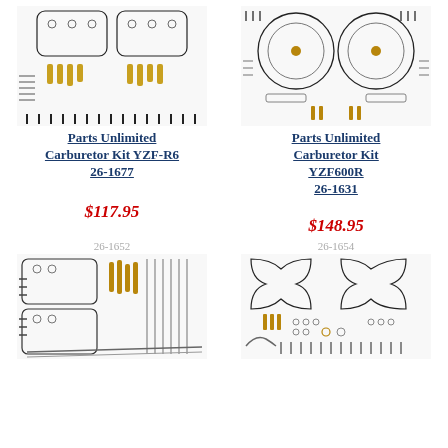[Figure (photo): Parts Unlimited Carburetor Kit YZF-R6 26-1677 product photo showing carburetor rebuild kit components]
[Figure (photo): Parts Unlimited Carburetor Kit YZF600R 26-1631 product photo showing carburetor rebuild kit components]
Parts Unlimited Carburetor Kit YZF-R6 26-1677
Parts Unlimited Carburetor Kit YZF600R 26-1631
$117.95
$148.95
26-1652
26-1654
[Figure (photo): Carburetor kit 26-1652 product photo showing rebuild kit components with screws and parts]
[Figure (photo): Carburetor kit 26-1654 product photo showing rebuild kit components with gaskets and hardware]